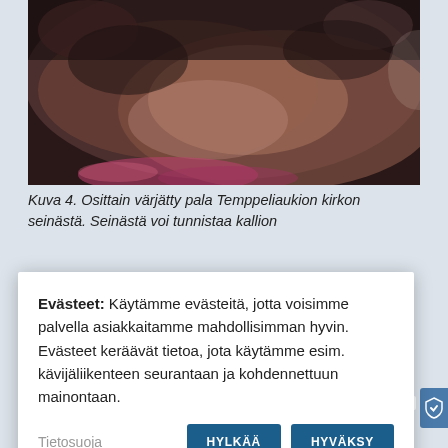[Figure (photo): A close-up photo of a partially dyed piece of rock from the wall of Temppeliaukio church, showing textured stone surface with dark and reddish-brown colors.]
Kuva 4. Osittain värjätty pala Temppeliaukion kirkon seinästä. Seinästä voi tunnistaa kallion
Evästeet: Käytämme evästeitä, jotta voisimme palvella asiakkaitamme mahdollisimman hyvin. Evästeet keräävät tietoa, jota käytämme esim. kävijäliikenteen seurantaan ja kohdennettuun mainontaan.
Miten värjään aineiston kokonaan?